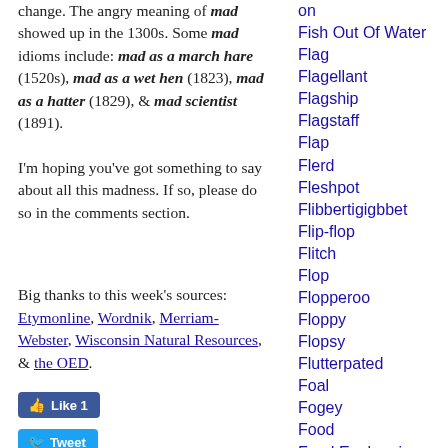change. The angry meaning of mad showed up in the 1300s. Some mad idioms include: mad as a march hare (1520s), mad as a wet hen (1823), mad as a hatter (1829), & mad scientist (1891).
I'm hoping you've got something to say about all this madness. If so, please do so in the comments section.
Big thanks to this week's sources: Etymonline, Wordnik, Merriam-Webster, Wisconsin Natural Resources, & the OED.
on
Fish Out Of Water
Flag
Flagellant
Flagship
Flagstaff
Flap
Flerd
Fleshpot
Flibbertigigbbet
Flip-flop
Flitch
Flop
Flopperoo
Floppy
Flopsy
Flutterpated
Foal
Fogey
Food
Food Euphemis